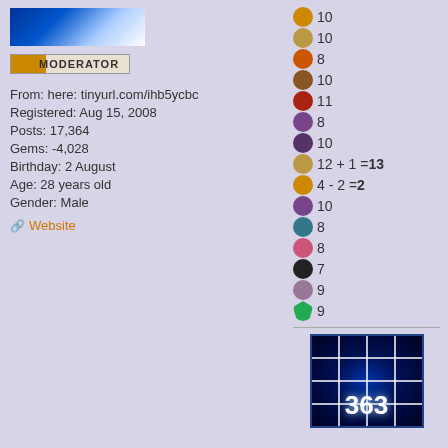[Figure (screenshot): Avatar image with blue gradient background]
MODERATOR
From: here: tinyurl.com/ihb5ycbc
Registered: Aug 15, 2008
Posts: 17,364
Gems: -4,028
Birthday: 2 August
Age: 28 years old
Gender: Male
Website
10
10
8
10
11
8
10
12 + 1 = 13
4 - 2 = 2
10
8
8
7
9
9
[Figure (screenshot): Blue grid image with number 363]